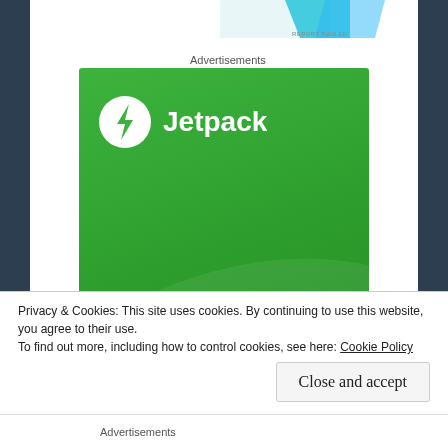[Figure (illustration): Partial advertisement image visible at top, cut off, showing blue/cyan and white shapes on white background with 'REPORT THIS AD' link]
REPORT THIS AD
Advertisements
[Figure (logo): Jetpack advertisement banner — green gradient background with Jetpack logo (white circle with lightning bolt) and 'Jetpack' text in white]
Privacy & Cookies: This site uses cookies. By continuing to use this website, you agree to their use.
To find out more, including how to control cookies, see here: Cookie Policy
Close and accept
Advertisements